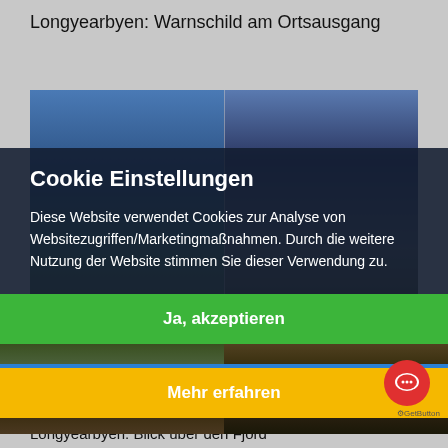Longyearbyen: Warnschild am Ortsausgang
[Figure (screenshot): Screenshot of a website showing a two-panel photo of Longyearbyen landscape with a cookie consent dialog overlay. The left panel shows a blue-sky mountain scene, the right shows a dark sky landscape. A cookie settings modal covers the center with buttons.]
Cookie Einstellungen
Diese Website verwendet Cookies zur Analyse von Websitezugriffen/Marketingmaßnahmen. Durch die weitere Nutzung der Website stimmen Sie dieser Verwendung zu.
Ja, akzeptieren
Cookie-Einstellungen anpassen
Mehr erfahren
Longyearbyen: Blick über den Fjord